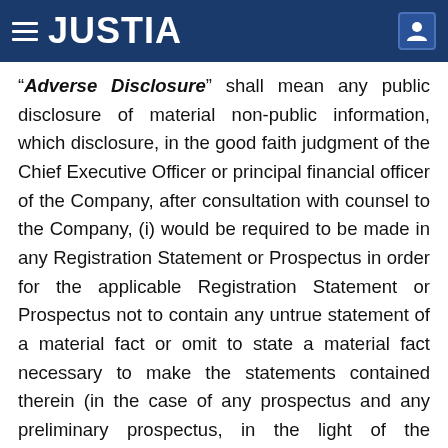JUSTIA
"Adverse Disclosure" shall mean any public disclosure of material non-public information, which disclosure, in the good faith judgment of the Chief Executive Officer or principal financial officer of the Company, after consultation with counsel to the Company, (i) would be required to be made in any Registration Statement or Prospectus in order for the applicable Registration Statement or Prospectus not to contain any untrue statement of a material fact or omit to state a material fact necessary to make the statements contained therein (in the case of any prospectus and any preliminary prospectus, in the light of the circumstances under which they were made) not misleading, (ii) would not be required to be made at such time if the Registration Statement were not being filed, and (iii) the Company has a bona fide business